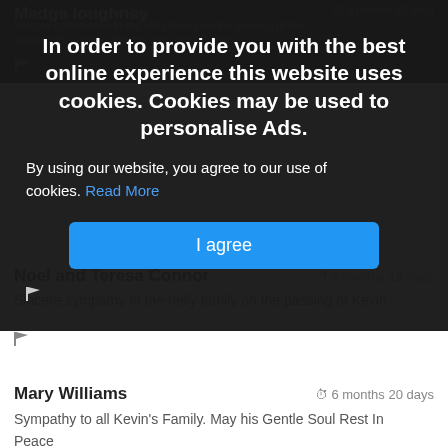Madge loughney
Sincere condolence to the reilly family on the passing of the beloved for a story. May his soul rest in peace.
In order to provide you with the best online experience this website uses cookies. Cookies may be used to personalise Ads.
By using our website, you agree to our use of cookies. Read More
I agree
Noel and Teresa Connor
6 months 19 days
Sincere sympathy to the reilly family on the passing of Kevin
Mary Williams
6 months 20 days
Sympathy to all Kevin's Family. May his Gentle Soul Rest In Peace